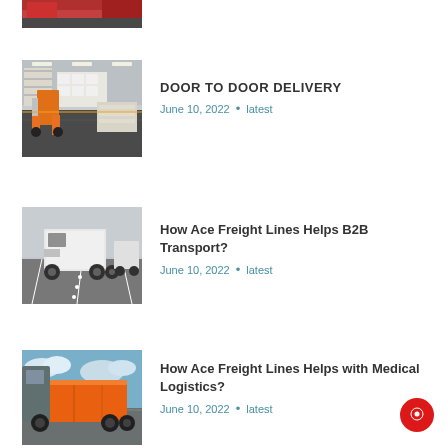[Figure (photo): Cropped top of a warehouse/forklift image from a previous article]
[Figure (photo): Warehouse interior with forklift carrying pallets of goods]
DOOR TO DOOR DELIVERY
June 10, 2022 • latest
[Figure (photo): White freight trucks on a highway, viewed from behind]
How Ace Freight Lines Helps B2B Transport?
June 10, 2022 • latest
[Figure (photo): Orange freight trailer truck parked with blue sky background]
How Ace Freight Lines Helps with Medical Logistics?
June 10, 2022 • latest